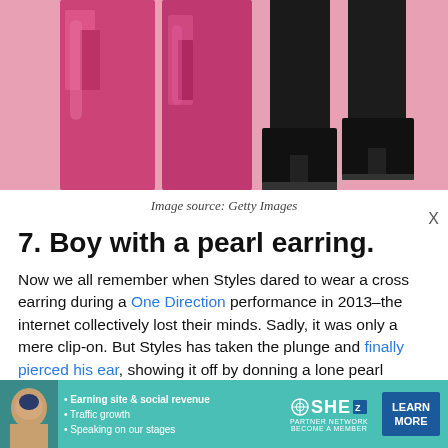[Figure (photo): Photo showing legs and feet of two people — one wearing shiny metallic pink/magenta wide-leg trousers and boots, the other wearing black trousers and black heeled boots, standing on a pink background.]
Image source: Getty Images
7. Boy with a pearl earring.
Now we all remember when Styles dared to wear a cross earring during a One Direction performance in 2013–the internet collectively lost their minds. Sadly, it was only a mere clip-on. But Styles has taken the plunge and finally pierced his ear, showing it off by donning a lone pearl earring, giving Johannes Vermeer's
[Figure (other): Advertisement banner for SHE Partner Network featuring a woman photo, bullet points: Earning site & social revenue, Traffic growth, Speaking on our stages, SHE Partner Network logo, BECOME A MEMBER text, and LEARN MORE button.]